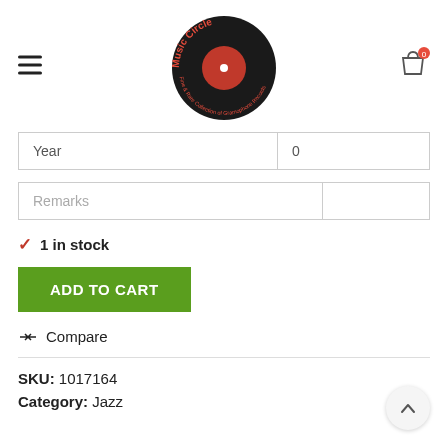[Figure (logo): Music Circle logo — vinyl record with red label and circular text reading 'Music Circle Fine & Rare Collection of Gramophone Records']
| Year | 0 |
| Remarks |  |
✓ 1 in stock
ADD TO CART
⇄ Compare
SKU: 1017164
Category: Jazz